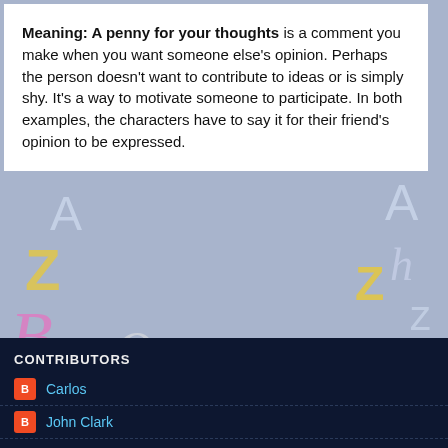Meaning: A penny for your thoughts is a comment you make when you want someone else's opinion. Perhaps the person doesn't want to contribute to ideas or is simply shy. It's a way to motivate someone to participate. In both examples, the characters have to say it for their friend's opinion to be expressed.
http://languagesystems.edu/
LSI at 12:04 PM   No comments:
Share
Home
View web version
CONTRIBUTORS
Carlos
John Clark